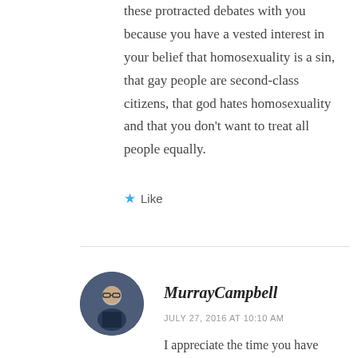these protracted debates with you because you have a vested interest in your belief that homosexuality is a sin, that gay people are second-class citizens, that god hates homosexuality and that you don't want to treat all people equally.
★ Like
MurrayCampbell
JULY 27, 2016 AT 10:10 AM
I appreciate the time you have given to the discussion. Yes, I do believe what the Bible teaches about